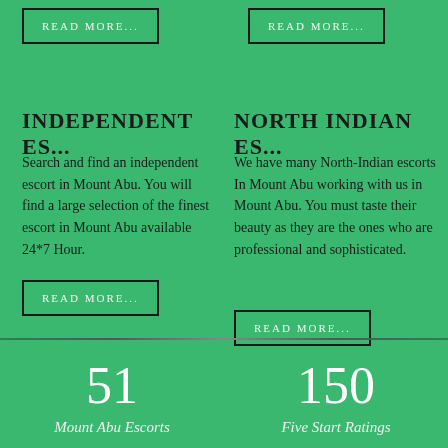READ MORE...
READ MORE...
INDEPENDENT ES...
Search and find an independent escort in Mount Abu. You will find a large selection of the finest escort in Mount Abu available 24*7 Hour.
READ MORE...
NORTH INDIAN ES...
We have many North-Indian escorts In Mount Abu working with us in Mount Abu. You must taste their beauty as they are the ones who are professional and sophisticated.
READ MORE...
51
Mount Abu Escorts
150
Five Start Ratings